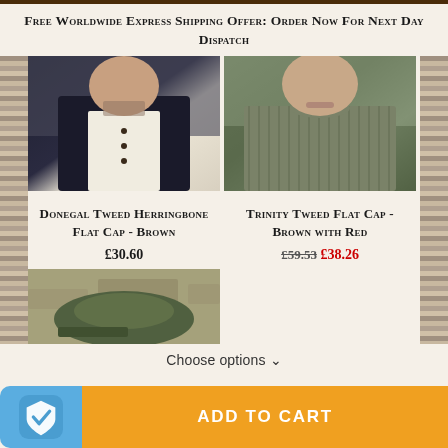Free Worldwide Express Shipping Offer: Order Now For Next Day Dispatch
[Figure (photo): Man wearing dark vest over white shirt, showing Donegal Tweed Herringbone Flat Cap product]
[Figure (photo): Man wearing olive/green ribbed knit sweater, showing Trinity Tweed Flat Cap product]
Donegal Tweed Herringbone Flat Cap - Brown
£30.60
Trinity Tweed Flat Cap - Brown with Red
£59.53  £38.26
[Figure (photo): Partial image of a green flat cap on stone surface]
Choose options ∨
ADD TO CART